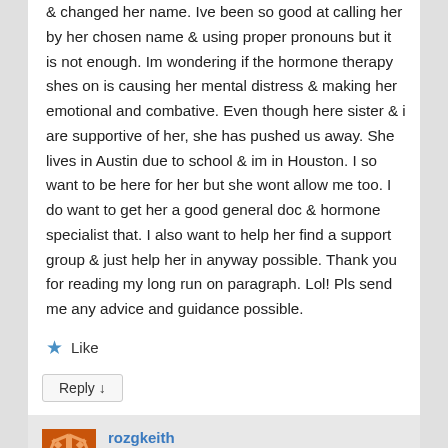& changed her name. Ive been so good at calling her by her chosen name & using proper pronouns but it is not enough. Im wondering if the hormone therapy shes on is causing her mental distress & making her emotional and combative. Even though here sister & i are supportive of her, she has pushed us away. She lives in Austin due to school & im in Houston. I so want to be here for her but she wont allow me too. I do want to get her a good general doc & hormone specialist that. I also want to help her find a support group & just help her in anyway possible. Thank you for reading my long run on paragraph. Lol! Pls send me any advice and guidance possible.
Like
Reply ↓
rozgkeith on July 6, 2022 at 10:27 am said: